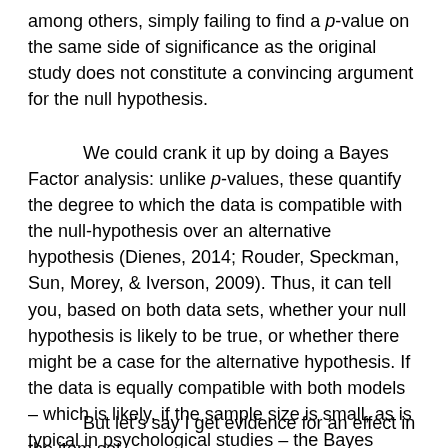among others, simply failing to find a p-value on the same side of significance as the original study does not constitute a convincing argument for the null hypothesis.
We could crank it up by doing a Bayes Factor analysis: unlike p-values, these quantify the degree to which the data is compatible with the null-hypothesis over an alternative hypothesis (Dienes, 2014; Rouder, Speckman, Sun, Morey, & Iverson, 2009). Thus, it can tell you, based on both data sets, whether your null hypothesis is likely to be true, or whether there might be a case for the alternative hypothesis. If the data is equally compatible with both models – which is likely, if the sample size is small, as is typical in psychological studies – the Bayes Factor will give you an 'equivocal' value around 1 (conventionally ranging from 1/3 to 3). Assuming the original authors send me their raw data, I can do a Bayes Factor analysis on both data sets. Most likely, I would get equivocal evidence in one or both of the studies, which would indicate that larger sample sizes are needed to detect whether the effect exists or not.
But let's say I get evidence for an effect in the item set